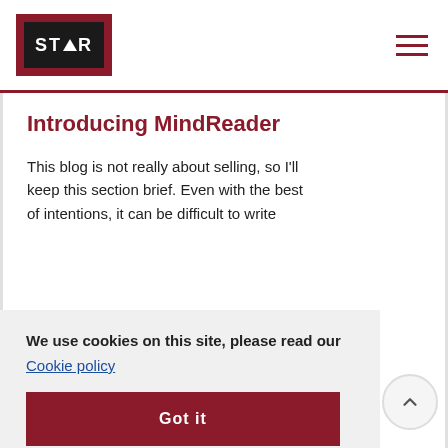STAR logo and navigation hamburger menu
Introducing MindReader
This blog is not really about selling, so I'll keep this section brief. Even with the best of intentions, it can be difficult to write
We use cookies on this site, please read our Cookie policy
Got it
developed authoring tools to help;